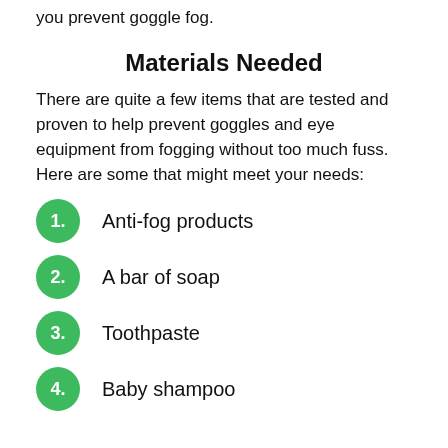For this, below is a quick guide that should help you prevent goggle fog.
Materials Needed
There are quite a few items that are tested and proven to help prevent goggles and eye equipment from fogging without too much fuss. Here are some that might meet your needs:
Anti-fog products
A bar of soap
Toothpaste
Baby shampoo